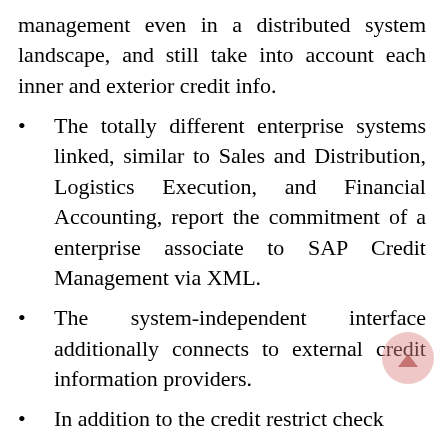management even in a distributed system landscape, and still take into account each inner and exterior credit info.
The totally different enterprise systems linked, similar to Sales and Distribution, Logistics Execution, and Financial Accounting, report the commitment of a enterprise associate to SAP Credit Management via XML.
The system-independent interface additionally connects to external credit information providers.
In addition to the credit restrict check